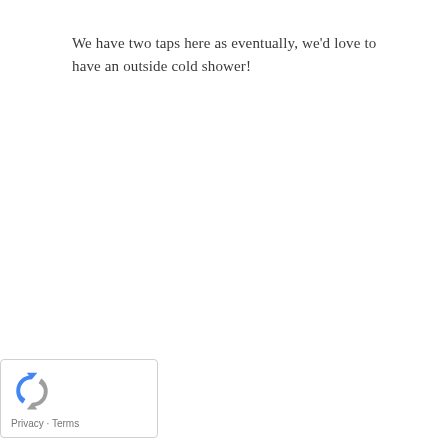We have two taps here as eventually, we'd love to have an outside cold shower!
[Figure (logo): Google reCAPTCHA widget with logo icon and Privacy · Terms links]